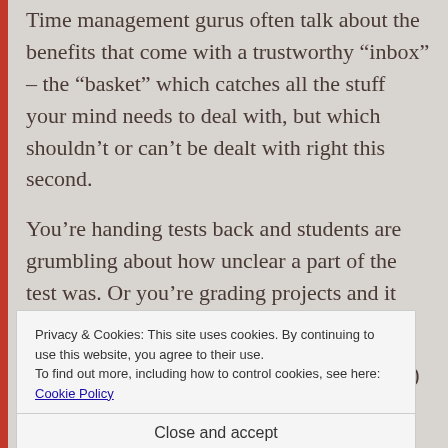Time management gurus often talk about the benefits that come with a trustworthy “inbox” – the “basket” which catches all the stuff your mind needs to deal with, but which shouldn’t or can’t be dealt with right this second.
You’re handing tests back and students are grumbling about how unclear a part of the test was. Or you’re grading projects and it seems like they’re just missing the mark.
Are you going to stop grading (or stop class) and
Privacy & Cookies: This site uses cookies. By continuing to use this website, you agree to their use.
To find out more, including how to control cookies, see here: Cookie Policy
Close and accept
sync across platforms, and is fun